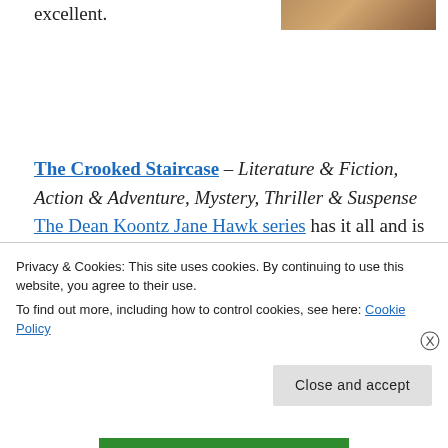excellent.
[Figure (photo): Partial photo of a person, cropped at top right]
The Crooked Staircase – Literature & Fiction, Action & Adventure, Mystery, Thriller & Suspense The Dean Koontz Jane Hawk series has it all and is very popular. I'm dialed in and looking forward to the next (and final?) installment.
Privacy & Cookies: This site uses cookies. By continuing to use this website, you agree to their use.
To find out more, including how to control cookies, see here: Cookie Policy